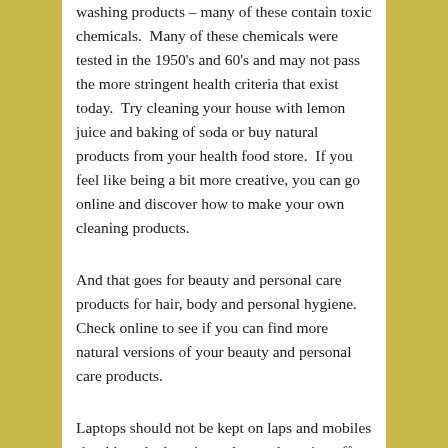washing products – many of these contain toxic chemicals.  Many of these chemicals were tested in the 1950's and 60's and may not pass the more stringent health criteria that exist today.  Try cleaning your house with lemon juice and baking of soda or buy natural products from your health food store.  If you feel like being a bit more creative, you can go online and discover how to make your own cleaning products.
And that goes for beauty and personal care products for hair, body and personal hygiene. Check online to see if you can find more natural versions of your beauty and personal care products.
Laptops should not be kept on laps and mobiles should not be kept in pockets – they give off low levels of radiation.  If possible avoid low level